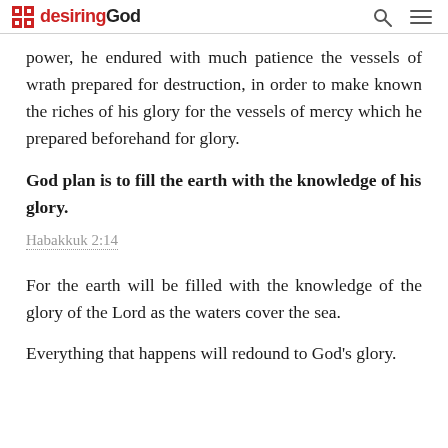desiringGod
power, he endured with much patience the vessels of wrath prepared for destruction, in order to make known the riches of his glory for the vessels of mercy which he prepared beforehand for glory.
God plan is to fill the earth with the knowledge of his glory.
Habakkuk 2:14
For the earth will be filled with the knowledge of the glory of the Lord as the waters cover the sea.
Everything that happens will redound to God's glory.